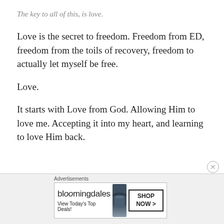The key to all of this, is love.
Love is the secret to freedom. Freedom from ED, freedom from the toils of recovery, freedom to actually let myself be free.
Love.
It starts with Love from God. Allowing Him to love me. Accepting it into my heart, and learning to love Him back.
Advertisements — bloomingdales — View Today's Top Deals! — SHOP NOW >